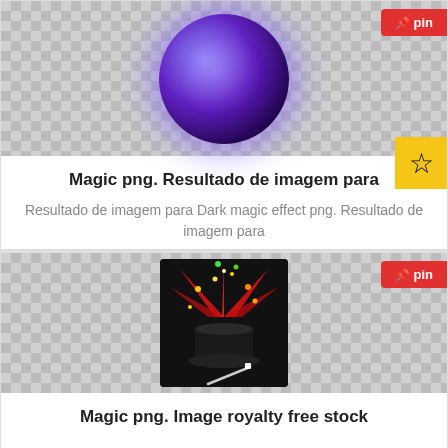[Figure (illustration): Magic purple glowing ball PNG image with dark background, checkerboard transparency pattern around it]
Magic png. Resultado de imagem para
Resultado de imagem para Dark magic effect png. Resultado de imagem para
🖼 559 x 550   ⬇10  ☆0  👁 147
[Figure (illustration): Magic hat with red beams of light and sparkles shooting out, black magician hat with wand]
Magic png. Image royalty free stock